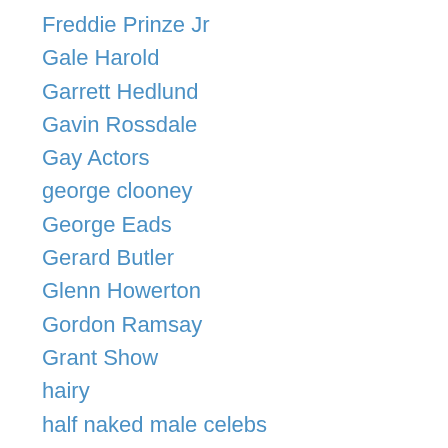Freddie Prinze Jr
Gale Harold
Garrett Hedlund
Gavin Rossdale
Gay Actors
george clooney
George Eads
Gerard Butler
Glenn Howerton
Gordon Ramsay
Grant Show
hairy
half naked male celebs
Harold Perrineau
Harry Judd